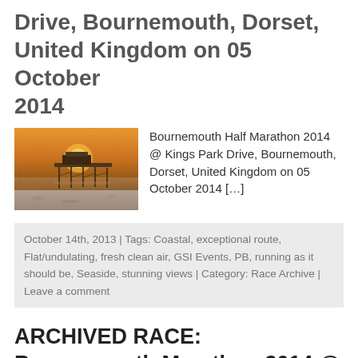Drive, Bournemouth, Dorset, United Kingdom on 05 October 2014
[Figure (photo): Photograph of Bournemouth pier at sunset with golden sky and beach in foreground]
Bournemouth Half Marathon 2014 @ Kings Park Drive, Bournemouth, Dorset, United Kingdom on 05 October 2014 [...]
October 14th, 2013 | Tags: Coastal, exceptional route, Flat/undulating, fresh clean air, GSI Events, PB, running as it should be, Seaside, stunning views | Category: Race Archive | Leave a comment
ARCHIVED RACE: Bournemouth Marathon 2014 @ Kings Park Drive, Bournemouth, Dorset